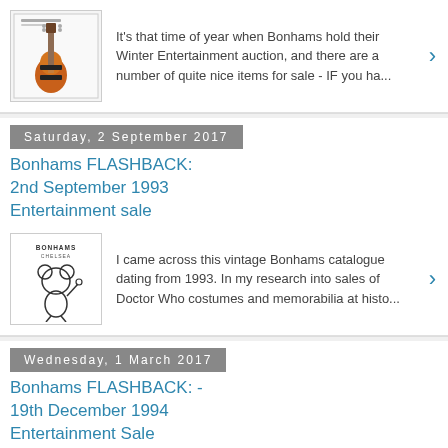[Figure (photo): Electric guitar (orange/sunburst Fender Stratocaster style) auction catalogue cover image]
It's that time of year when Bonhams hold their Winter Entertainment auction, and there are a number of quite nice items for sale - IF you ha...
Saturday, 2 September 2017
Bonhams FLASHBACK: 2nd September 1993 Entertainment sale
[Figure (photo): Bonhams Chelsea vintage catalogue cover with Mickey Mouse illustration, 1993]
I came across this vintage Bonhams catalogue dating from 1993. In my research into sales of Doctor Who costumes and memorabilia at histo...
Wednesday, 1 March 2017
Bonhams FLASHBACK: - 19th December 1994 Entertainment Sale
[Figure (photo): Bonhams auction catalogue cover image, 1994]
In my researching into sales of Doctor Who